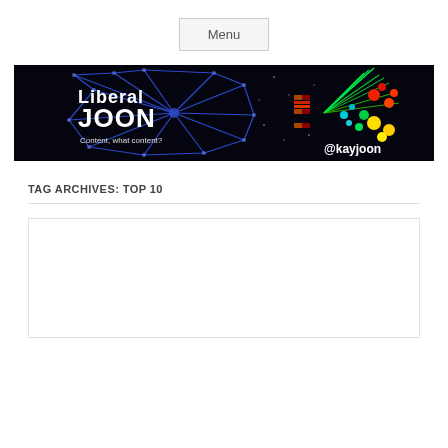Menu
[Figure (illustration): Liberal JOON blog banner — dark/black background with blue glowing web/network pattern on left, colorful particle explosion on right, white bold text reading 'Liberal JOON' with tagline 'Content, what content?' and '@kayjoon' in white at bottom right]
TAG ARCHIVES: TOP 10
[Figure (other): Empty article thumbnail box with border — white rectangle with thin border, appears to be a placeholder for article content]